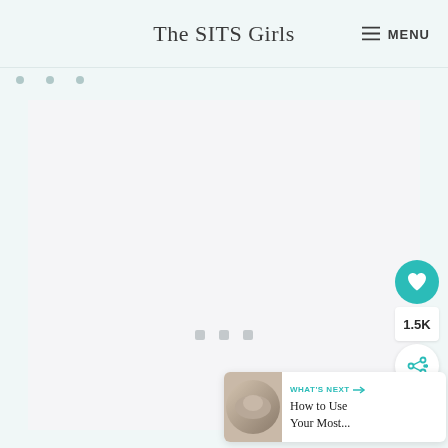The SITS Girls  MENU
[Figure (screenshot): Main content area with light gray background, loading dots in center]
[Figure (infographic): Social sidebar with heart button (teal), 1.5K count, and share button]
[Figure (other): What's Next card with thumbnail, label 'WHAT'S NEXT', and text 'How to Use Your Most...']